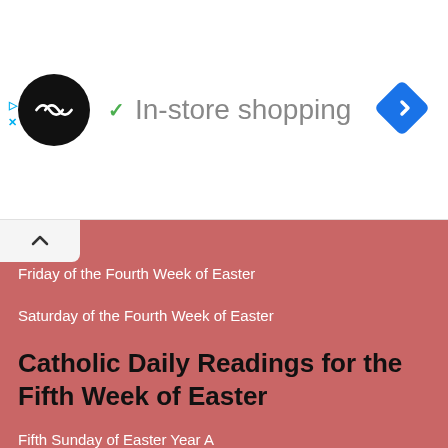[Figure (screenshot): Ad bar with circular logo, checkmark, In-store shopping text, and blue navigation diamond icon. Small play/close arrows on left edge.]
[Figure (screenshot): Collapse/chevron up button in white rounded corner box on dark pink/salmon background]
Friday of the Fourth Week of Easter
Saturday of the Fourth Week of Easter
Catholic Daily Readings for the Fifth Week of Easter
Fifth Sunday of Easter Year A
Fifth Sunday of Easter Year B
Fifth Sunday of Easter Year C
Monday of the Fifth Week of Easter